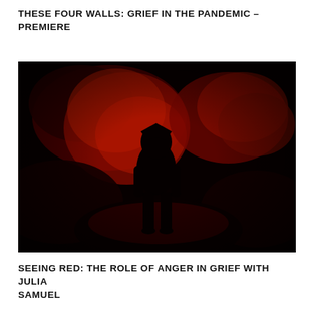THESE FOUR WALLS: GRIEF IN THE PANDEMIC – PREMIERE
[Figure (photo): A dark, dramatic photograph of a hooded figure silhouetted against swirling red and black smoke, standing centrally in an ominous, moody scene.]
SEEING RED: THE ROLE OF ANGER IN GRIEF WITH JULIA SAMUEL